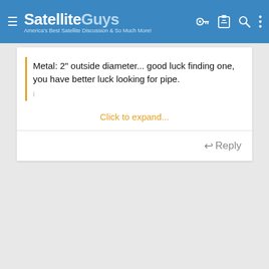SatelliteGuys — America's Best Satellite Discussion & So Much More!
Metal: 2" outside diameter... good luck finding one, you have better luck looking for pipe.
Click to expand...
Reply